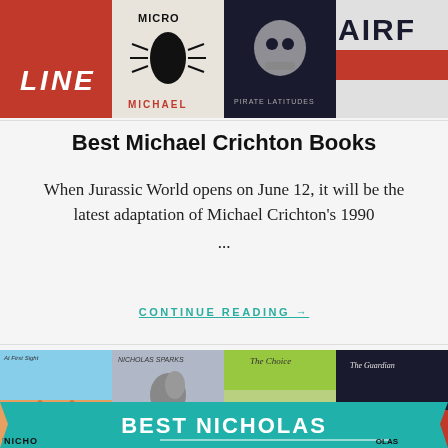[Figure (photo): Collage of Michael Crichton book covers including Micro, a red book with LINE, Pirate Latitudes, and another with AIRF visible]
Best Michael Crichton Books
When Jurassic World opens on June 12, it will be the latest adaptation of Michael Crichton's 1990 ...
CONTINUE READING →
[Figure (photo): Collage of Nicholas Sparks book covers including At First Sight, a couple embracing, The Choice, The Guardian, with a teal banner reading BEST NICHOLAS overlaid]